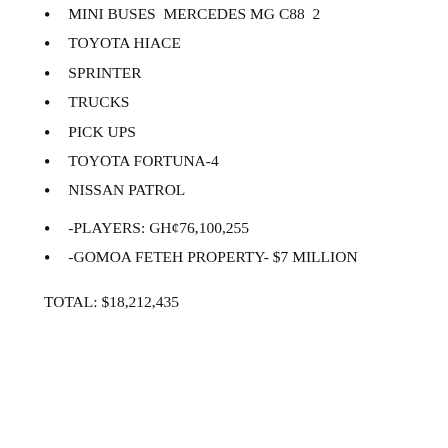MINI BUSES  MERCEDES MG C88  2
TOYOTA HIACE
SPRINTER
TRUCKS
PICK UPS
TOYOTA FORTUNA-4
NISSAN PATROL
-PLAYERS: GH¢76,100,255
-GOMOA FETEH PROPERTY- $7 MILLION
TOTAL: $18,212,435